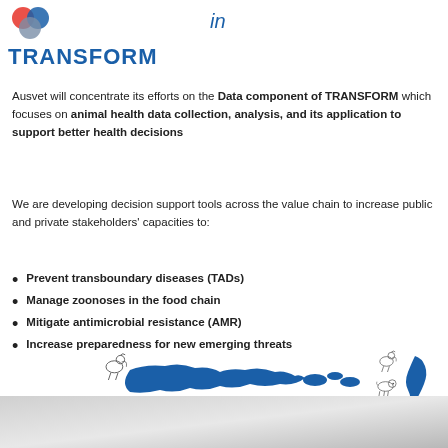[Figure (logo): TRANSFORM logo with colored circles (red, blue, grey) and blue bold text 'TRANSFORM', with italic blue 'in' to the right]
Ausvet will concentrate its efforts on the Data component of TRANSFORM which focuses on animal health data collection, analysis, and its application to support better health decisions
We are developing decision support tools across the value chain to increase public and private stakeholders' capacities to:
Prevent transboundary diseases (TADs)
Manage zoonoses in the food chain
Mitigate antimicrobial resistance (AMR)
Increase preparedness for new emerging threats
[Figure (illustration): Map of Indonesia (blue silhouette) with chicken icon and italic label 'Indonesia'; Vietnam (blue silhouette) with chicken, pig, and shrimp icons and italic label 'Vietnam']
[Figure (photo): Partial photo strip at bottom of page, grey/blue toned surface]